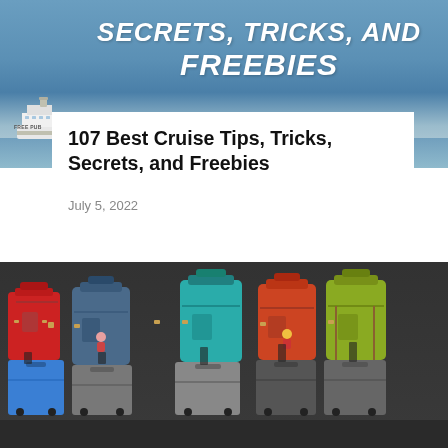[Figure (photo): Cruise ship on blue ocean water with text overlay reading SECRETS, TRICKS, AND FREEBIES in bold white italic letters]
107 Best Cruise Tips, Tricks, Secrets, and Freebies
July 5, 2022
[Figure (photo): Multiple colorful backpacks (red, blue, teal, orange, yellow-green) and rolling suitcases lined up against a dark wall]